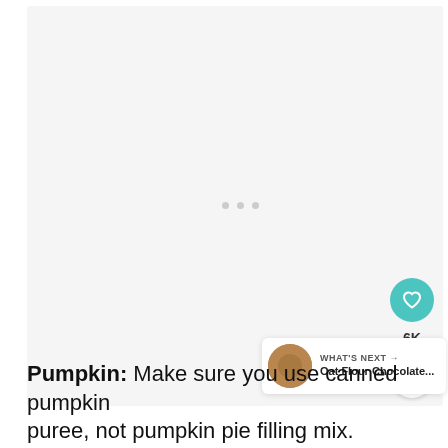[Figure (photo): Large light gray placeholder image area with three dots indicating loading state]
Pumpkin: Make sure you use canned pumpkin puree, not pumpkin pie filling mix.